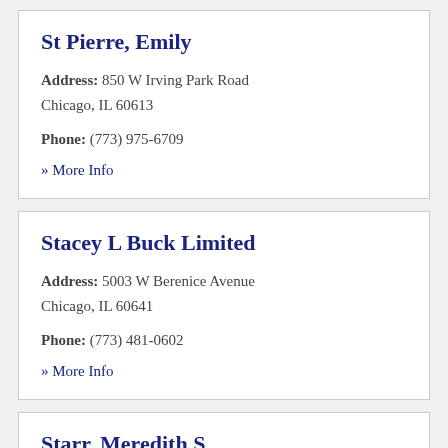St Pierre, Emily
Address: 850 W Irving Park Road Chicago, IL 60613
Phone: (773) 975-6709
» More Info
Stacey L Buck Limited
Address: 5003 W Berenice Avenue Chicago, IL 60641
Phone: (773) 481-0602
» More Info
Starr, Meredith S